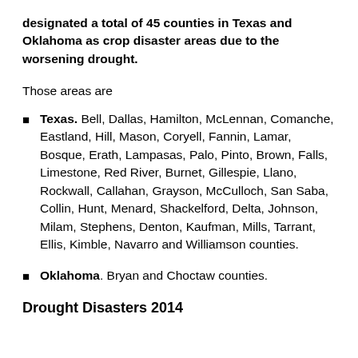designated a total of 45 counties in Texas and Oklahoma as crop disaster areas due to the worsening drought.
Those areas are
Texas. Bell, Dallas, Hamilton, McLennan, Comanche, Eastland, Hill, Mason, Coryell, Fannin, Lamar, Bosque, Erath, Lampasas, Palo, Pinto, Brown, Falls, Limestone, Red River, Burnet, Gillespie, Llano, Rockwall, Callahan, Grayson, McCulloch, San Saba, Collin, Hunt, Menard, Shackelford, Delta, Johnson, Milam, Stephens, Denton, Kaufman, Mills, Tarrant, Ellis, Kimble, Navarro and Williamson counties.
Oklahoma. Bryan and Choctaw counties.
Drought Disasters 2014